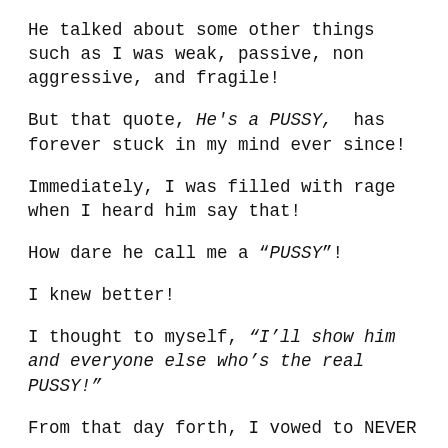He talked about some other things such as I was weak, passive, non aggressive, and fragile!
But that quote, He's a PUSSY, has forever stuck in my mind ever since!
Immediately, I was filled with rage when I heard him say that!
How dare he call me a “PUSSY”!
I knew better!
I thought to myself, “I’ll show him and everyone else who’s the real PUSSY!”
From that day forth, I vowed to NEVER